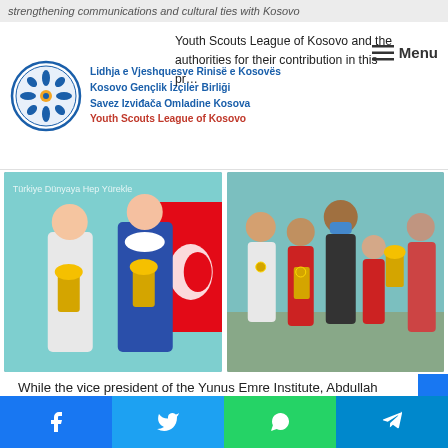strengthening communications and cultural ties with Kosovo
[Figure (logo): Youth Scouts League of Kosovo logo with circular emblem and multilingual text]
Youth Scouts League of Kosovo and the authorities for their contribution in this project.
[Figure (photo): Two photos side by side: left photo shows a boy and a woman in blue coat holding trophies in front of Turkish flag; right photo shows a group of children and adults holding trophies and medals indoors.]
While the vice president of the Yunus Emre Institute, Abdullah Kutlamësh Yalçin has drawn attention to the fact that archery, in addition to being a hunting tool for many nations, has also been used as a martial sport. "I want to announce the satisfaction for the interest and intensive participation in the
Facebook | Twitter | WhatsApp | Telegram